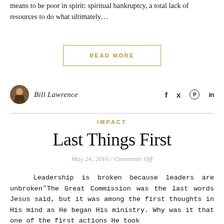means to be poor in spirit: spiritual bankruptcy, a total lack of resources to do what ultimately...
READ MORE
Bill Lawrence
IMPACT
Last Things First
May 24, 2016 / Comments Off
Leadership is broken because leaders are unbroken. The Great Commission was the last words Jesus said, but it was among the first thoughts in His mind as He began His ministry. Why was it that one of the first actions He took